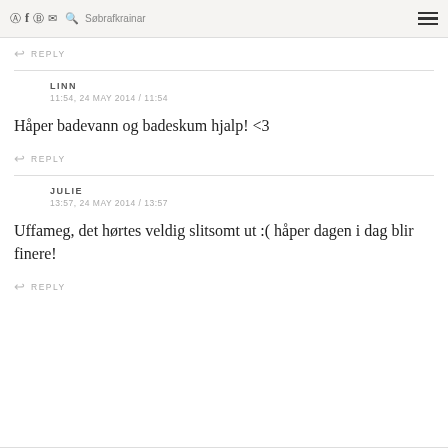Søbrafkrainar [icons] Search Menu
↩ REPLY
LINN
11:54, 24 MAY 2014 / 11:54
Håper badevann og badeskum hjalp! <3
↩ REPLY
JULIE
13:57, 24 MAY 2014 / 13:57
Uffameg, det hørtes veldig slitsomt ut :( håper dagen i dag blir finere!
↩ REPLY